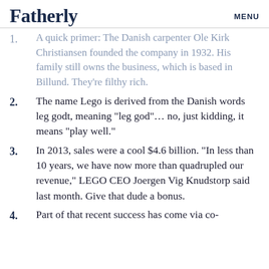Fatherly
MENU
1. A quick primer: The Danish carpenter Ole Kirk Christiansen founded the company in 1932. His family still owns the business, which is based in Billund. They’re filthy rich.
2. The name Lego is derived from the Danish words leg godt, meaning “leg god”… no, just kidding, it means “play well.”
3. In 2013, sales were a cool $4.6 billion. “In less than 10 years, we have now more than quadrupled our revenue,” LEGO CEO Joergen Vig Knudstorp said last month. Give that dude a bonus.
4. Part of that recent success has come via co-